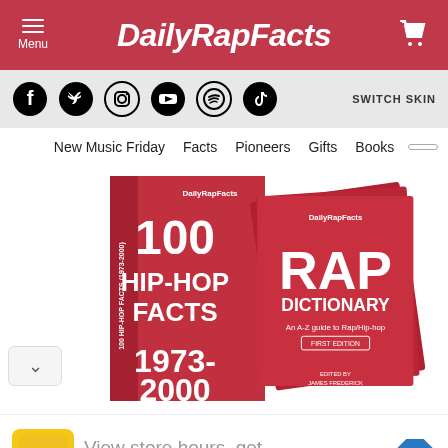DailyRapFacts — Menu | Cart
[Figure (screenshot): Social media icons: Facebook, Twitter, Instagram, YouTube, Spotify, TikTok, and SWITCH SKIN button]
New Music Friday  Facts  Pioneers  Gifts  Books
[Figure (photo): Two red books: '100 Hip-Hop Facts 1973-2000' spine/cover and 'RAP DICTIONARY An A-Z guide to Rap/Hip-hop First Edition' fanned pages]
View store hours, get directions, or call your salon!